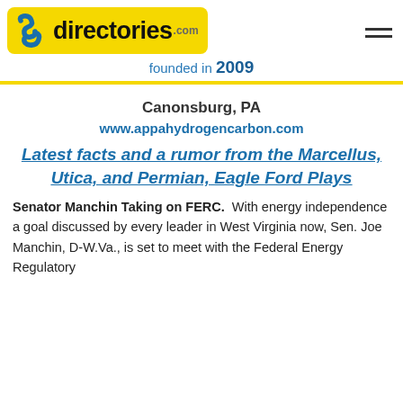[Figure (logo): Superpages/directories.com logo with yellow background, blue S icon, bold 'directories.com' text, and hamburger menu icon]
founded in 2009
Canonsburg, PA
www.appahydrogencarbon.com
Latest facts and a rumor from the Marcellus, Utica, and Permian, Eagle Ford Plays
Senator Manchin Taking on FERC.  With energy independence a goal discussed by every leader in West Virginia now, Sen. Joe Manchin, D-W.Va., is set to meet with the Federal Energy Regulatory